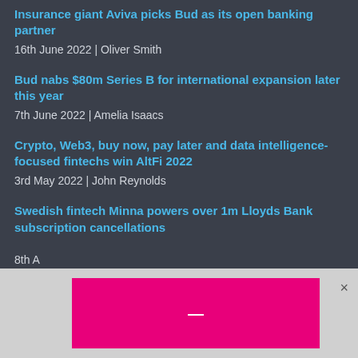Insurance giant Aviva picks Bud as its open banking partner
16th June 2022 | Oliver Smith
Bud nabs $80m Series B for international expansion later this year
7th June 2022 | Amelia Isaacs
Crypto, Web3, buy now, pay later and data intelligence-focused fintechs win AltFi 2022
3rd May 2022 | John Reynolds
Swedish fintech Minna powers over 1m Lloyds Bank subscription cancellations
8th A...